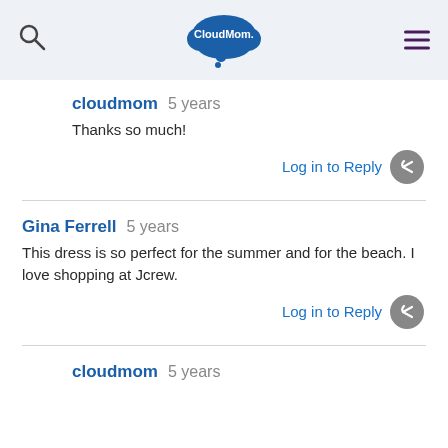CloudMom.
cloudmom  5 years
Thanks so much!
Log in to Reply
Gina Ferrell  5 years
This dress is so perfect for the summer and for the beach. I love shopping at Jcrew.
Log in to Reply
cloudmom  5 years